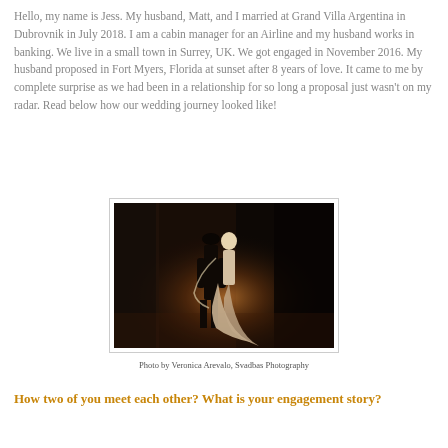Hello, my name is Jess. My husband, Matt, and I married at Grand Villa Argentina in Dubrovnik in July 2018. I am a cabin manager for an Airline and my husband works in banking. We live in a small town in Surrey, UK. We got engaged in November 2016. My husband proposed in Fort Myers, Florida at sunset after 8 years of love. It came to me by complete surprise as we had been in a relationship for so long a proposal just wasn't on my radar. Read below how our wedding journey looked like!
[Figure (photo): A dramatic wedding photo of a couple embracing in a dark architectural corridor with warm amber/orange light behind them. The bride is in a white gown and the groom in a dark suit.]
Photo by Veronica Arevalo, Svadbas Photography
How two of you meet each other? What is your engagement story?